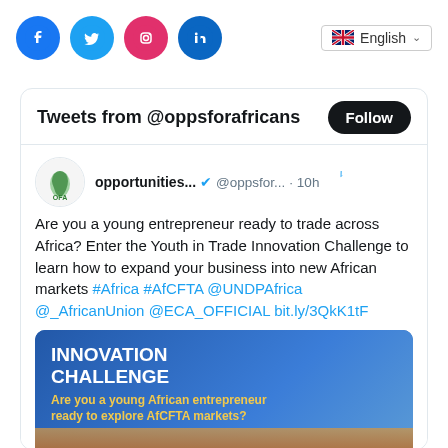[Figure (screenshot): Top navigation bar with Facebook and Twitter social icons, and an English language selector dropdown]
[Figure (screenshot): Twitter widget showing tweets from @oppsforafricans with a Follow button, OFA account tweet about Youth in Trade Innovation Challenge with hashtags #Africa #AfCFTA @UNDPAfrica @_AfricanUnion @ECA_OFFICIAL and a link, plus an embedded image card showing 'INNOVATION CHALLENGE - Are you a young African entrepreneur ready to explore AfCFTA markets?']